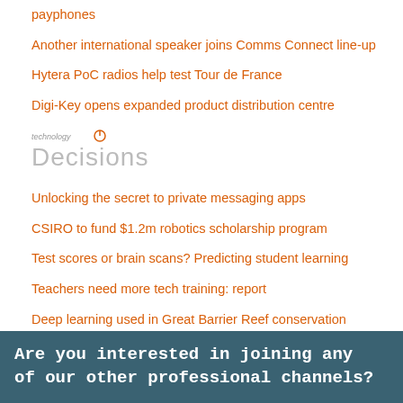payphones
Another international speaker joins Comms Connect line-up
Hytera PoC radios help test Tour de France
Digi-Key opens expanded product distribution centre
[Figure (logo): technology Decisions logo - small italic 'technology' text with power button icon above larger grey 'Decisions' text]
Unlocking the secret to private messaging apps
CSIRO to fund $1.2m robotics scholarship program
Test scores or brain scans? Predicting student learning
Teachers need more tech training: report
Deep learning used in Great Barrier Reef conservation
Are you interested in joining any of our other professional channels?